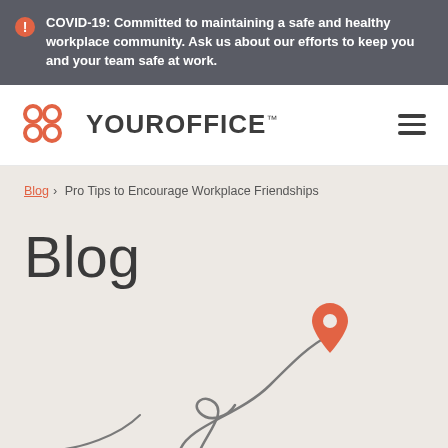COVID-19: Committed to maintaining a safe and healthy workplace community. Ask us about our efforts to keep you and your team safe at work.
[Figure (logo): YourOffice logo with orange grid icon and bold uppercase text YOUROFFICE with TM mark]
Blog › Pro Tips to Encourage Workplace Friendships
Blog
[Figure (illustration): Decorative illustration with a curving gray line path and an orange map pin icon in the upper center area, with partial circular swirl shapes at the bottom]